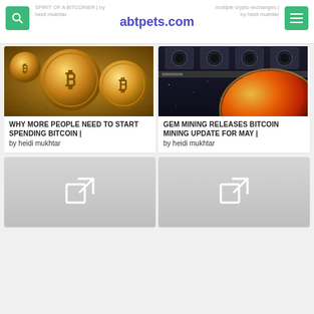SPIRIT OF A BITCOINER | by heidi mukhtar
abtpets.com
multiple crypto exchanges | by heidi mukhtar
[Figure (photo): Golden bitcoin coins on a circuit board background]
WHY MORE PEOPLE NEED TO START SPENDING BITCOIN | by heidi mukhtar
[Figure (photo): Bitcoin mining rig with earth globe graphic in dark setting]
GEM MINING RELEASES BITCOIN MINING UPDATE FOR MAY | by heidi mukhtar
[Figure (photo): Placeholder image with link icon]
[Figure (photo): Placeholder image with link icon]